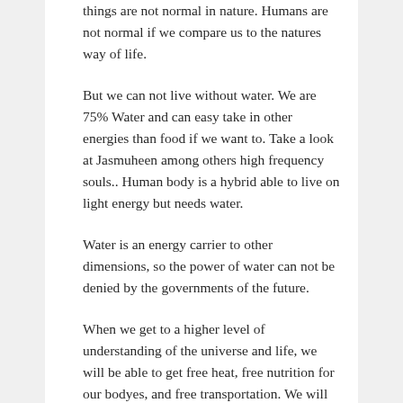things are not normal in nature. Humans are not normal if we compare us to the natures way of life.
But we can not live without water. We are 75% Water and can easy take in other energies than food if we want to. Take a look at Jasmuheen among others high frequency souls.. Human body is a hybrid able to live on light energy but needs water.
Water is an energy carrier to other dimensions, so the power of water can not be denied by the governments of the future.
When we get to a higher level of understanding of the universe and life, we will be able to get free heat, free nutrition for our bodyes, and free transportation. We will even be free from the